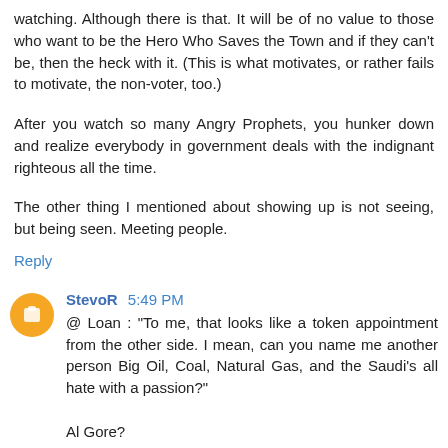watching. Although there is that. It will be of no value to those who want to be the Hero Who Saves the Town and if they can't be, then the heck with it. (This is what motivates, or rather fails to motivate, the non-voter, too.)
After you watch so many Angry Prophets, you hunker down and realize everybody in government deals with the indignant righteous all the time.
The other thing I mentioned about showing up is not seeing, but being seen. Meeting people.
Reply
StevoR 5:49 PM
@ Loan : "To me, that looks like a token appointment from the other side. I mean, can you name me another person Big Oil, Coal, Natural Gas, and the Saudi's all hate with a passion?"

Al Gore?